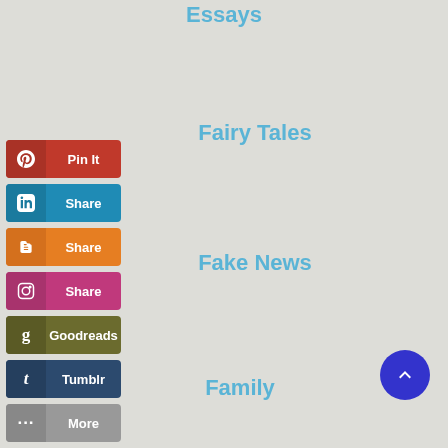Essays
Fairy Tales
[Figure (infographic): Social sharing buttons: Pin It (Pinterest), Share (LinkedIn), Share (Blogger), Share (Instagram), Goodreads, Tumblr, More]
Fake News
Family